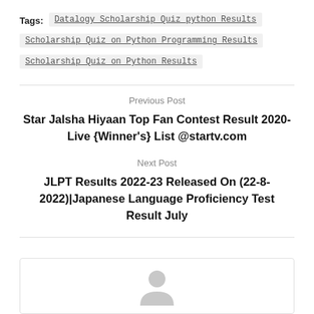Tags: Datalogy Scholarship Quiz python Results | Scholarship Quiz on Python Programming Results | Scholarship Quiz on Python Results
Previous Post
Star Jalsha Hiyaan Top Fan Contest Result 2020-Live {Winner's} List @startv.com
Next Post
JLPT Results 2022-23 Released On (22-8-2022)|Japanese Language Proficiency Test Result July
[Figure (illustration): Partial avatar/profile icon (grey silhouette) inside a rounded rectangle card at the bottom of the page]